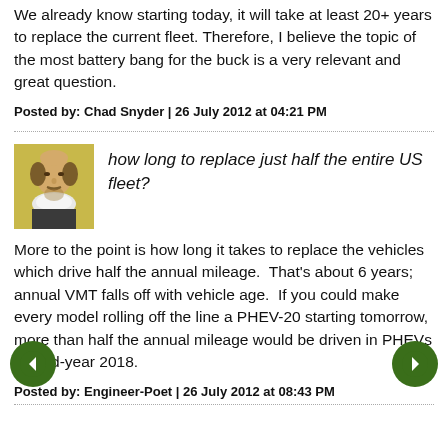We already know starting today, it will take at least 20+ years to replace the current fleet. Therefore, I believe the topic of the most battery bang for the buck is a very relevant and great question.
Posted by: Chad Snyder | 26 July 2012 at 04:21 PM
[Figure (photo): Avatar image of a portrait painting (Shakespeare-style) with yellow/gold background]
how long to replace just half the entire US fleet?
More to the point is how long it takes to replace the vehicles which drive half the annual mileage.  That's about 6 years; annual VMT falls off with vehicle age.  If you could make every model rolling off the line a PHEV-20 starting tomorrow, more than half the annual mileage would be driven in PHEVs by mid-year 2018.
Posted by: Engineer-Poet | 26 July 2012 at 08:43 PM